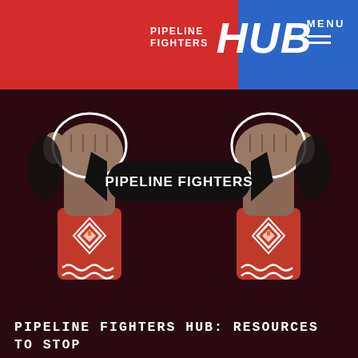PIPELINE FIGHTERS HUB  MENU
[Figure (logo): Pipeline Fighters logo: two raised fists holding a banner that reads PIPELINE FIGHTERS, with Native American-style patterned sleeves in red with geometric designs]
PIPELINE FIGHTERS HUB: RESOURCES TO STOP